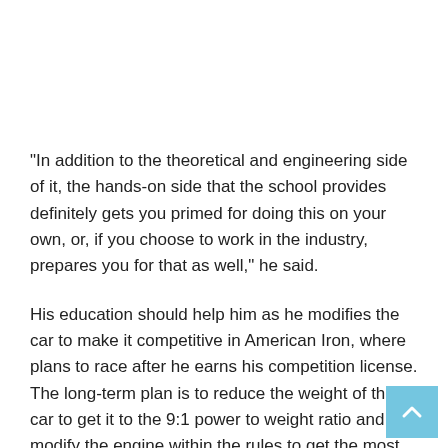“In addition to the theoretical and engineering side of it, the hands-on side that the school provides definitely gets you primed for doing this on your own, or, if you choose to work in the industry, prepares you for that as well,” he said.
His education should help him as he modifies the car to make it competitive in American Iron, where plans to race after he earns his competition license. The long-term plan is to reduce the weight of the car to get it to the 9:1 power to weight ratio and modify the engine within the rules to get the most out of it. His education should come in handy there, too.